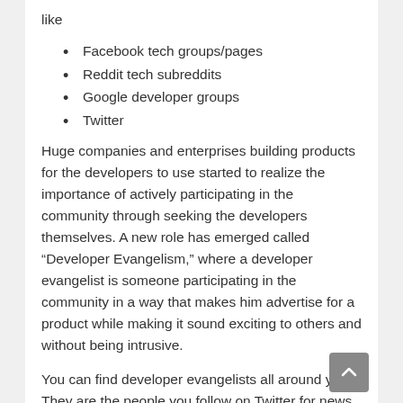like
Facebook tech groups/pages
Reddit tech subreddits
Google developer groups
Twitter
Huge companies and enterprises building products for the developers to use started to realize the importance of actively participating in the community through seeking the developers themselves. A new role has emerged called “Developer Evangelism,” where a developer evangelist is someone participating in the community in a way that makes him advertise for a product while making it sound exciting to others and without being intrusive.
You can find developer evangelists all around you. They are the people you follow on Twitter for news, who write tutorials on their blogs telling you how to do something. Think of them as social and brand